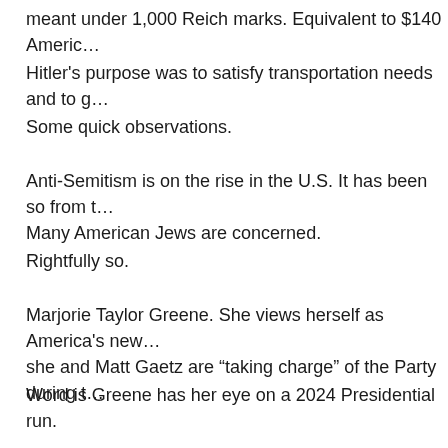meant under 1,000 Reich marks. Equivalent to $140 Americ…
Hitler's purpose was to satisfy transportation needs and to g…
Some quick observations.
Anti-Semitism is on the rise in the U.S. It has been so from t… Many American Jews are concerned.
Rightfully so.
Marjorie Taylor Greene. She views herself as America's new… she and Matt Gaetz are "taking charge" of the Party during t…
Word is Greene has her eye on a 2024 Presidential run.
Republicans have come up with many false claims concerni… the insurrectionists were actors hired by the Democrats.